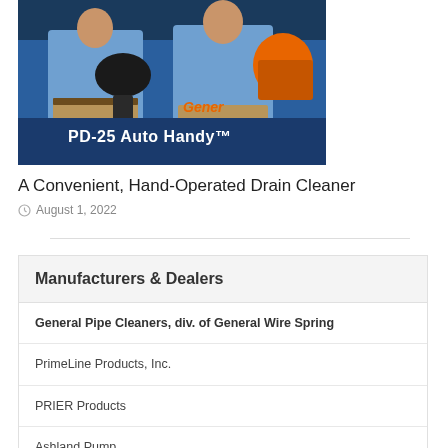[Figure (photo): Two men in blue shirts holding a PD-25 Auto Handy drain cleaner tool in front of a blue General Pipe Cleaners machine. Text overlay reads 'PD-25 Auto Handy™'.]
A Convenient, Hand-Operated Drain Cleaner
August 1, 2022
Manufacturers & Dealers
General Pipe Cleaners, div. of General Wire Spring
PrimeLine Products, Inc.
PRIER Products
Ashland Pump